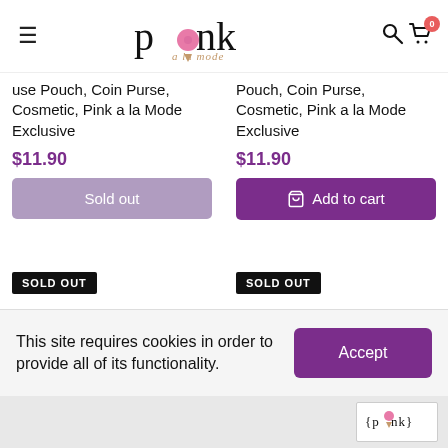Pink a la Mode — navigation header with hamburger menu, logo, search and cart icons
use Pouch, Coin Purse, Cosmetic, Pink a la Mode Exclusive
$11.90
Sold out
Pouch, Coin Purse, Cosmetic, Pink a la Mode Exclusive
$11.90
Add to cart
SOLD OUT
SOLD OUT
[Figure (photo): Black cosmetic pouch with white pattern on dark background]
[Figure (photo): Black cosmetic pouch with white/silver pattern, partially visible]
This site requires cookies in order to provide all of its functionality.
Accept